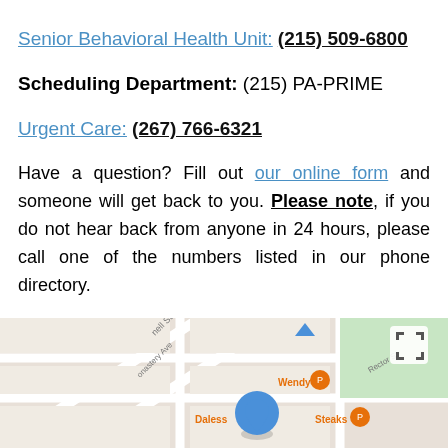Senior Behavioral Health Unit: (215) 509-6800
Scheduling Department: (215) PA-PRIME
Urgent Care: (267) 766-6321
Have a question? Fill out our online form and someone will get back to you. Please note, if you do not hear back from anyone in 24 hours, please call one of the numbers listed in our phone directory.
[Figure (map): Google Maps embed showing location near Monastery Ave, with Wendy's and Dalessandro's Steaks nearby, blue location pin in center]